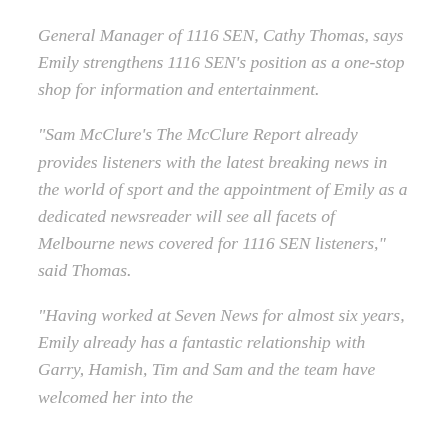General Manager of 1116 SEN, Cathy Thomas, says Emily strengthens 1116 SEN's position as a one-stop shop for information and entertainment.
“Sam McClure’s The McClure Report already provides listeners with the latest breaking news in the world of sport and the appointment of Emily as a dedicated newsreader will see all facets of Melbourne news covered for 1116 SEN listeners,” said Thomas.
“Having worked at Seven News for almost six years, Emily already has a fantastic relationship with Garry, Hamish, Tim and Sam and the team have welcomed her into the